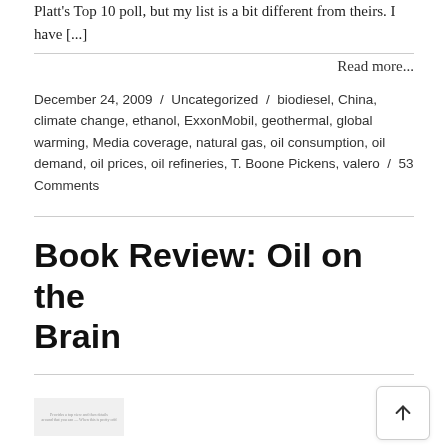Platt's Top 10 poll, but my list is a bit different from theirs. I have [...]
Read more...
December 24, 2009 / Uncategorized / biodiesel, China, climate change, ethanol, ExxonMobil, geothermal, global warming, Media coverage, natural gas, oil consumption, oil demand, oil prices, oil refineries, T. Boone Pickens, valero / 53 Comments
Book Review: Oil on the Brain